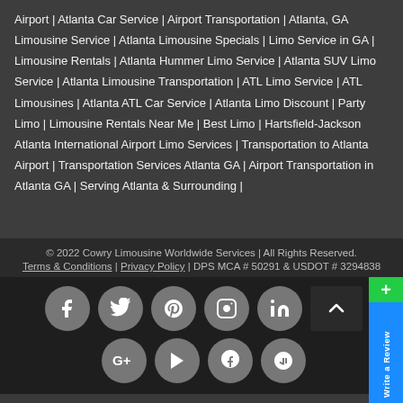Airport | Atlanta Car Service | Airport Transportation | Atlanta, GA Limousine Service | Atlanta Limousine Specials | Limo Service in GA | Limousine Rentals | Atlanta Hummer Limo Service | Atlanta SUV Limo Service | Atlanta Limousine Transportation | ATL Limo Service | ATL Limousines | Atlanta ATL Car Service | Atlanta Limo Discount | Party Limo | Limousine Rentals Near Me | Best Limo | Hartsfield-Jackson Atlanta International Airport Limo Services | Transportation to Atlanta Airport | Transportation Services Atlanta GA | Airport Transportation in Atlanta GA | Serving Atlanta & Surrounding |
© 2022 Cowry Limousine Worldwide Services | All Rights Reserved. Terms & Conditions | Privacy Policy | DPS MCA # 50291 & USDOT # 3294838
[Figure (other): Row of social media icons: Facebook, Twitter, Pinterest, Instagram, LinkedIn, then second row: Google+, YouTube, Tumblr, Yelp. All grey circular buttons on dark background. A back-to-top arrow button on the right. A green plus button and blue Write a Review sidebar on far right.]